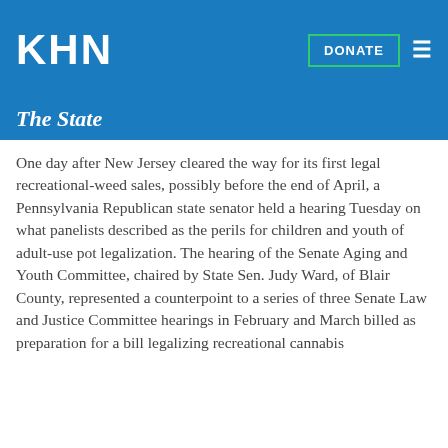KHN
The State
One day after New Jersey cleared the way for its first legal recreational-weed sales, possibly before the end of April, a Pennsylvania Republican state senator held a hearing Tuesday on what panelists described as the perils for children and youth of adult-use pot legalization. The hearing of the Senate Aging and Youth Committee, chaired by State Sen. Judy Ward, of Blair County, represented a counterpoint to a series of three Senate Law and Justice Committee hearings in February and March billed as preparation for a bill legalizing recreational cannabis
This website stores cookies on your computer to collect information about how you interact with our website. We use this information in order to improve and customize your browsing experience and for analytics and metrics about our visitors both on this website and other media. To find out more about the cookies we use, see our Privacy Policy.
Accept